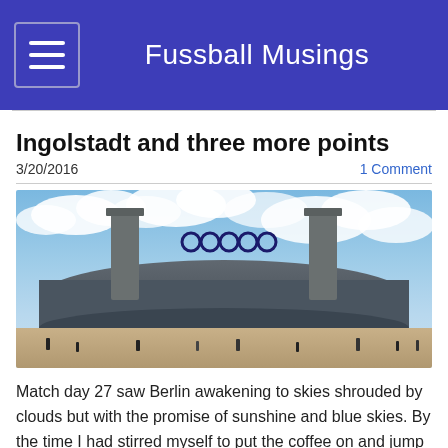Fussball Musings
Ingolstadt and three more points
3/20/2016
1 Comment
[Figure (photo): Exterior view of a large stadium with two tall stone towers flanking an entrance gate. Olympic rings visible between the towers. Cloudy blue sky above. People walking in the foreground plaza.]
Match day 27 saw Berlin awakening to skies shrouded by clouds but with the promise of sunshine and blue skies.  By the time I had stirred myself to put the coffee on and jump in the shower the promise was starting to be fulfilled! It turned out into a wonderful spring day and